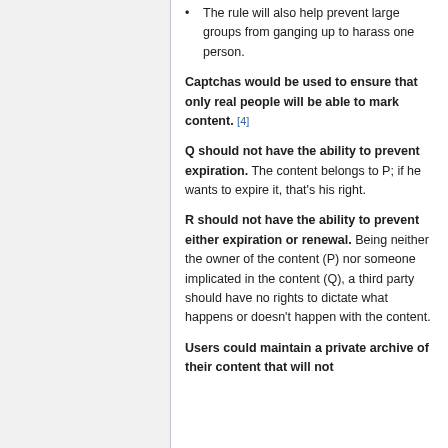The rule will also help prevent large groups from ganging up to harass one person.
Captchas would be used to ensure that only real people will be able to mark content. [4]
Q should not have the ability to prevent expiration. The content belongs to P; if he wants to expire it, that’s his right.
R should not have the ability to prevent either expiration or renewal. Being neither the owner of the content (P) nor someone implicated in the content (Q), a third party should have no rights to dictate what happens or doesn’t happen with the content.
Users could maintain a private archive of their content that will not